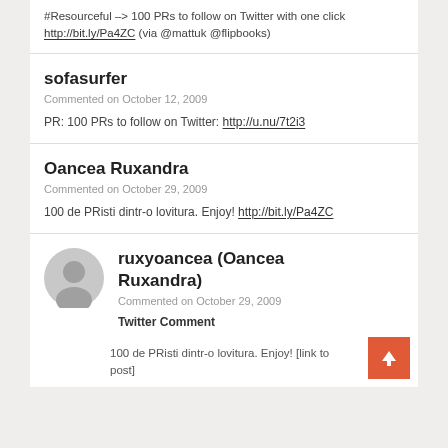#Resourceful –> 100 PRs to follow on Twitter with one click http://bit.ly/Pa4ZC (via @mattuk @flipbooks)
sofasurfer
Commented on October 12, 2009
PR: 100 PRs to follow on Twitter: http://u.nu/7t2i3
Oancea Ruxandra
Commented on October 29, 2009
100 de PRisti dintr-o lovitura. Enjoy! http://bit.ly/Pa4ZC
[Figure (illustration): Circular grey avatar/profile picture placeholder with silhouette of a person]
ruxyoancea (Oancea Ruxandra)
Commented on October 29, 2009
Twitter Comment
100 de PRisti dintr-o lovitura. Enjoy! [link to post]